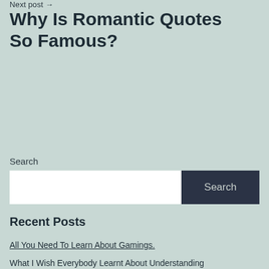Next post →
Why Is Romantic Quotes So Famous?
Search
Search
Recent Posts
All You Need To Learn About Gamings.
What I Wish Everybody Learnt About Understanding